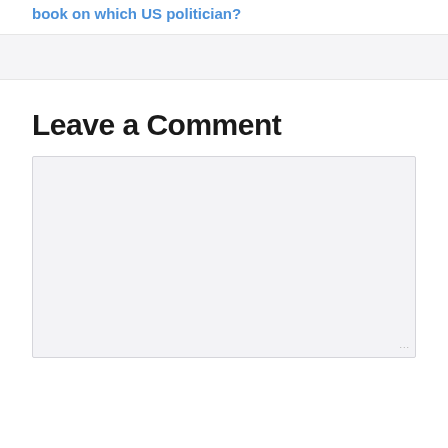book on which US politician?
Leave a Comment
[Figure (other): Empty comment text area input box with light gray background and resize handle in bottom right corner]